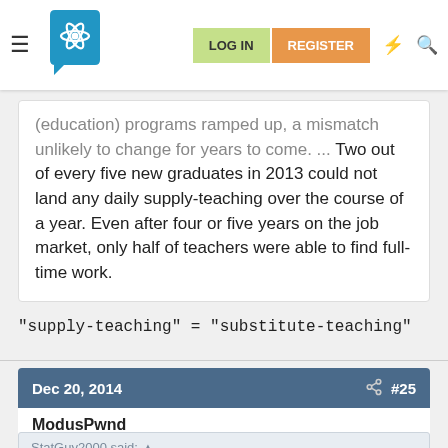LOG IN | REGISTER (navigation bar with logo)
(education) programs ramped up, a mismatch unlikely to change for years to come. ... Two out of every five new graduates in 2013 could not land any daily supply-teaching over the course of a year. Even after four or five years on the job market, only half of teachers were able to find full-time work.
"supply-teaching" = "substitute-teaching"
Dec 20, 2014  #25
ModusPwnd
StatGuy2000 said: